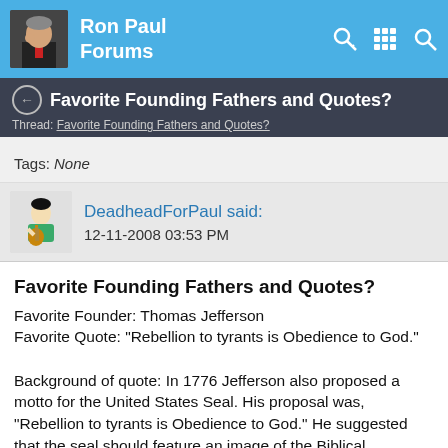Ron Paul Forums
Favorite Founding Fathers and Quotes?
Thread: Favorite Founding Fathers and Quotes?
Tags: None
DeadheadForPaul said: 12-11-2008 03:53 PM
Favorite Founding Fathers and Quotes?
Favorite Founder: Thomas Jefferson
Favorite Quote: "Rebellion to tyrants is Obedience to God."

Background of quote: In 1776 Jefferson also proposed a motto for the United States Seal. His proposal was, "Rebellion to tyrants is Obedience to God." He suggested that the seal should feature an image of the Biblical He